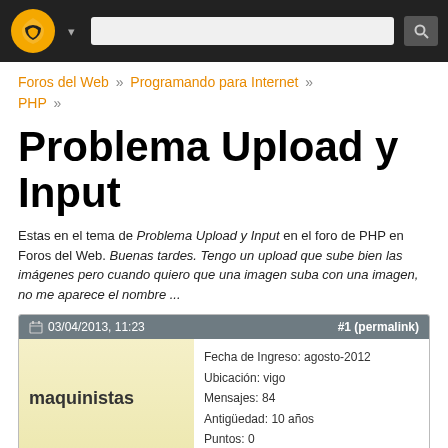[Figure (screenshot): Website navigation bar with logo, dropdown arrow, search input, and search button on dark background]
Foros del Web » Programando para Internet » PHP »
Problema Upload y Input
Estas en el tema de Problema Upload y Input en el foro de PHP en Foros del Web. Buenas tardes. Tengo un upload que sube bien las imágenes pero cuando quiero que una imagen suba con una imagen, no me aparece el nombre ...
| 03/04/2013, 11:23 | #1 (permalink) |
| --- | --- |
| maquinistas | Fecha de Ingreso: agosto-2012
Ubicación: vigo
Mensajes: 84
Antigüedad: 10 años
Puntos: 0 |
| Problema Upload y Input |  |
| Buenas tardes. |  |